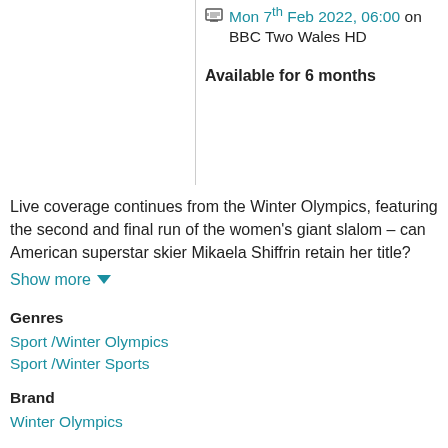Mon 7th Feb 2022, 06:00 on BBC Two Wales HD
Available for 6 months
Live coverage continues from the Winter Olympics, featuring the second and final run of the women's giant slalom – can American superstar skier Mikaela Shiffrin retain her title?
Show more
Genres
Sport / Winter Olympics
Sport / Winter Sports
Brand
Winter Olympics